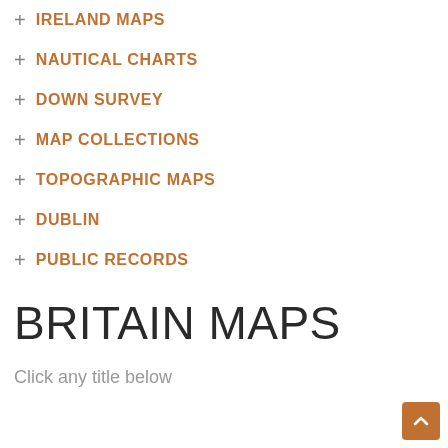+ IRELAND MAPS
+ NAUTICAL CHARTS
+ DOWN SURVEY
+ MAP COLLECTIONS
+ TOPOGRAPHIC MAPS
+ DUBLIN
+ PUBLIC RECORDS
BRITAIN MAPS
Click any title below